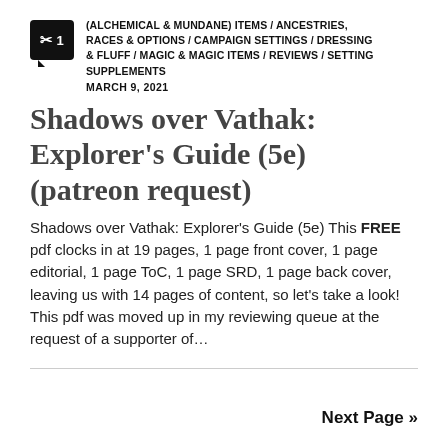(ALCHEMICAL & MUNDANE) ITEMS / ANCESTRIES, RACES & OPTIONS / CAMPAIGN SETTINGS / DRESSING & FLUFF / MAGIC & MAGIC ITEMS / REVIEWS / SETTING SUPPLEMENTS
MARCH 9, 2021
Shadows over Vathak: Explorer's Guide (5e) (patreon request)
Shadows over Vathak: Explorer's Guide (5e) This FREE pdf clocks in at 19 pages, 1 page front cover, 1 page editorial, 1 page ToC, 1 page SRD, 1 page back cover, leaving us with 14 pages of content, so let's take a look!  This pdf was moved up in my reviewing queue at the request of a supporter of...
Next Page »